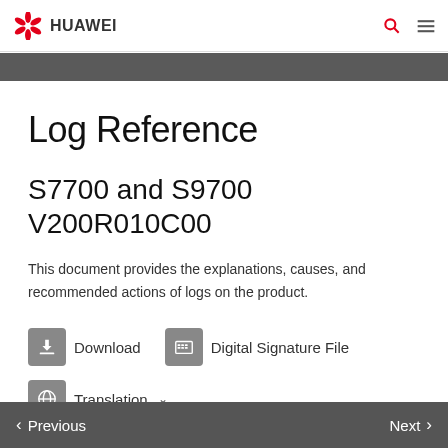HUAWEI [logo] [search icon] [menu icon]
Log Reference
S7700 and S9700 V200R010C00
This document provides the explanations, causes, and recommended actions of logs on the product.
Download   Digital Signature File
Translation
< Previous   Next >